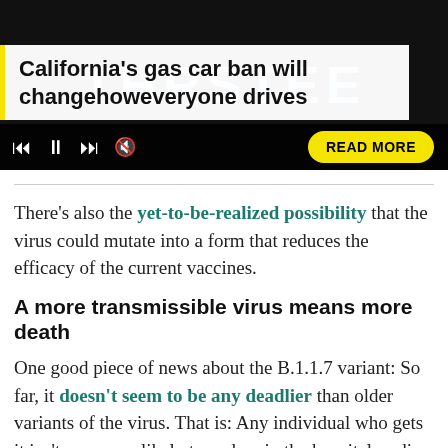[Figure (screenshot): Video player banner showing a California license plate with letters THRSTEE on a blue background, with video playback controls at the bottom and a yellow READ MORE button]
California's gas car ban will changehoweveryone drives
There's also the yet-to-be-realized possibility that the virus could mutate into a form that reduces the efficacy of the current vaccines.
A more transmissible virus means more death
One good piece of news about the B.1.1.7 variant: So far, it doesn't seem to be any deadlier than older variants of the virus. That is: Any individual who gets it isn't any more likely to end up in the hospital or die, according to the early data.